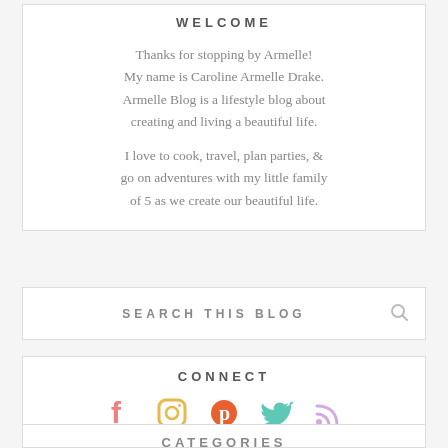WELCOME
Thanks for stopping by Armelle!
My name is Caroline Armelle Drake.
Armelle Blog is a lifestyle blog about creating and living a beautiful life.

I love to cook, travel, plan parties, & go on adventures with my little family of 5 as we create our beautiful life.
SEARCH THIS BLOG
CONNECT
[Figure (infographic): Social media icons row: Facebook (coral/pink), Instagram (yellow/orange), Pinterest (orange-red), Twitter (teal), RSS (light purple)]
CATEGORIES